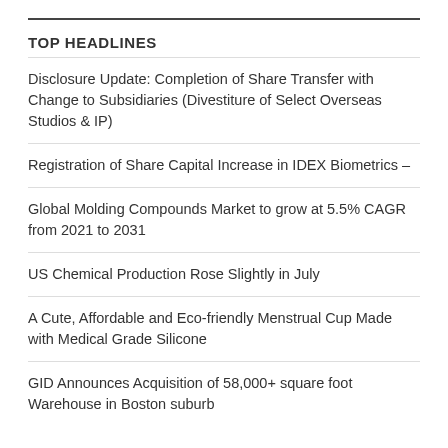TOP HEADLINES
Disclosure Update: Completion of Share Transfer with Change to Subsidiaries (Divestiture of Select Overseas Studios & IP)
Registration of Share Capital Increase in IDEX Biometrics –
Global Molding Compounds Market to grow at 5.5% CAGR from 2021 to 2031
US Chemical Production Rose Slightly in July
A Cute, Affordable and Eco-friendly Menstrual Cup Made with Medical Grade Silicone
GID Announces Acquisition of 58,000+ square foot Warehouse in Boston suburb